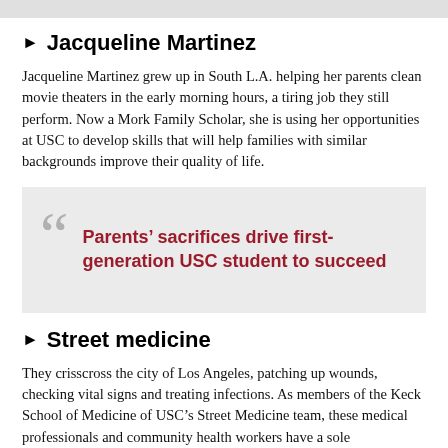▶ Jacqueline Martinez
Jacqueline Martinez grew up in South L.A. helping her parents clean movie theaters in the early morning hours, a tiring job they still perform. Now a Mork Family Scholar, she is using her opportunities at USC to develop skills that will help families with similar backgrounds improve their quality of life.
“Parents’ sacrifices drive first-generation USC student to succeed
▶ Street medicine
They crisscross the city of Los Angeles, patching up wounds, checking vital signs and treating infections. As members of the Keck School of Medicine of USC’s Street Medicine team, these medical professionals and community health workers have a sole